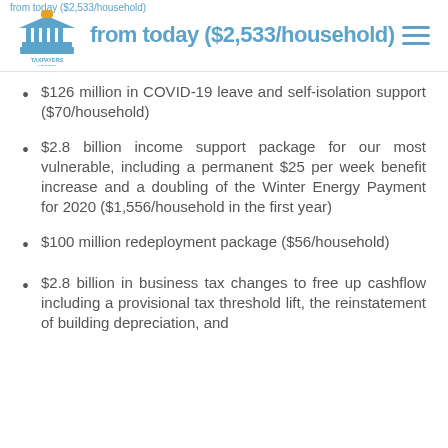Taxpayers Union logo and navigation header with subtitle from today ($2,533/household)
$126 million in COVID-19 leave and self-isolation support ($70/household)
$2.8 billion income support package for our most vulnerable, including a permanent $25 per week benefit increase and a doubling of the Winter Energy Payment for 2020 ($1,556/household in the first year)
$100 million redeployment package ($56/household)
$2.8 billion in business tax changes to free up cashflow including a provisional tax threshold lift, the reinstatement of building depreciation, and